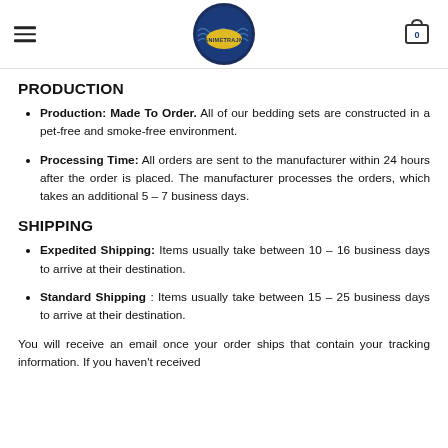ANIMETRAUM logo header with hamburger menu and cart icon showing 0
PRODUCTION
Production: Made To Order. All of our bedding sets are constructed in a pet-free and smoke-free environment.
Processing Time: All orders are sent to the manufacturer within 24 hours after the order is placed. The manufacturer processes the orders, which takes an additional 5 – 7 business days.
SHIPPING
Expedited Shipping: Items usually take between 10 – 16 business days to arrive at their destination.
Standard Shipping : Items usually take between 15 – 25 business days to arrive at their destination.
You will receive an email once your order ships that contain your tracking information. If you haven't received